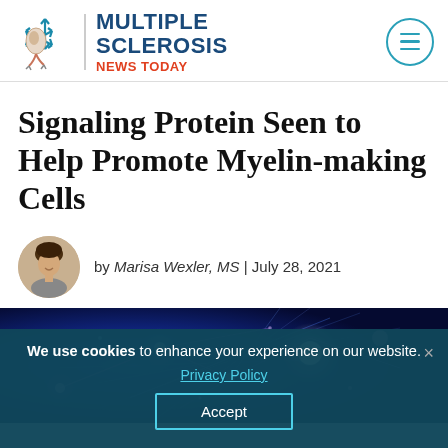Multiple Sclerosis News Today
Signaling Protein Seen to Help Promote Myelin-making Cells
by Marisa Wexler, MS | July 28, 2021
[Figure (photo): Abstract blue neural/science background with glowing particles and interconnected lines]
We use cookies to enhance your experience on our website. Privacy Policy Accept